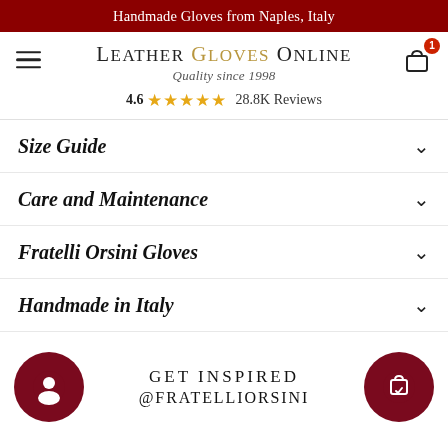Handmade Gloves from Naples, Italy
LEATHER GLOVES ONLINE
Quality since 1998
4.6 ★★★★★ 28.8K Reviews
Size Guide
Care and Maintenance
Fratelli Orsini Gloves
Handmade in Italy
GET INSPIRED
@FRATELLIORSINI